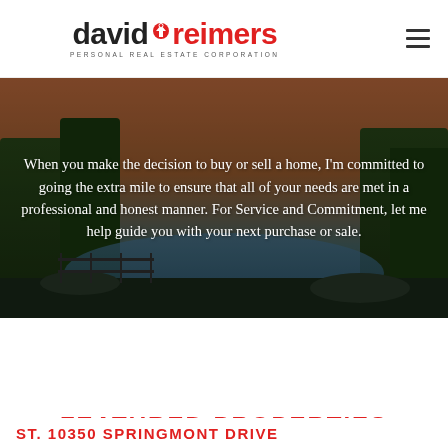[Figure (logo): David Reimers Personal Real Estate Corporation logo with red house icon]
[Figure (photo): Outdoor luxury property photo showing a pool area with surrounding greenery and a lake or water body in the background at dusk]
When you make the decision to buy or sell a home, I'm committed to going the extra mile to ensure that all of your needs are met in a professional and honest manner. For Service and Commitment, let me help guide you with your next purchase or sale.
FEATURED PROPERTIES
ST. 10350 SPRINGMONT DRIVE